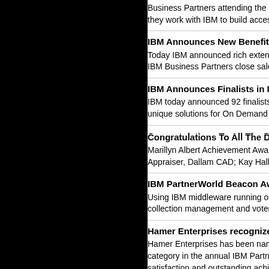Business Partners attending the PartnerWorld 2006 Co... they work with IBM to build accessible information soluti...
IBM Announces New Benefits For ISV Business Par...
Today IBM announced rich extensions to its IBM Partne... IBM Business Partners close sales with IBM. "We're doi...
IBM Announces Finalists in IBM PartnerWorld Beaco...
IBM today announced 92 finalists in its annual Partner... unique solutions for On Demand Business, ingenuity, an...
Congratulations To All The Deserving Members Who...
Marillyn Albert Achievement Award - Winner - J. Sidn... Appraiser, Dallam CAD; Kay Hall, Collections Manager,...
IBM PartnerWorld Beacon Awards - The Best IBM Sy...
Using IBM middleware running on IBM eServer iSerie... collection management and voter registration. Travis Co...
Hamer Enterprises recognized internationally with a...
Hamer Enterprises has been named the winner of the... category in the annual IBM PartnerWorld Beacon A... satisfaction and outstanding achievements in providing ...
Can We Count On It?
Four years after hanging chads made headlines, many... season. Residents can renew their library books online... cash ever touching their hands. But, when it comes to v...
IBM Unveils New PartnerWorld Industry Networks fo...
IBM today unveiled new PartnerWorld Industry Network...